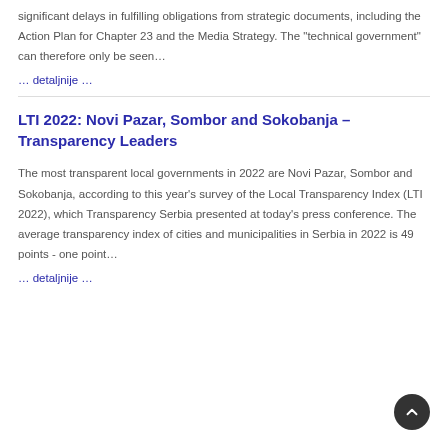significant delays in fulfilling obligations from strategic documents, including the Action Plan for Chapter 23 and the Media Strategy. The "technical government" can therefore only be seen…
… detaljnije …
LTI 2022: Novi Pazar, Sombor and Sokobanja – Transparency Leaders
The most transparent local governments in 2022 are Novi Pazar, Sombor and Sokobanja, according to this year's survey of the Local Transparency Index (LTI 2022), which Transparency Serbia presented at today's press conference. The average transparency index of cities and municipalities in Serbia in 2022 is 49 points - one point…
… detaljnije …